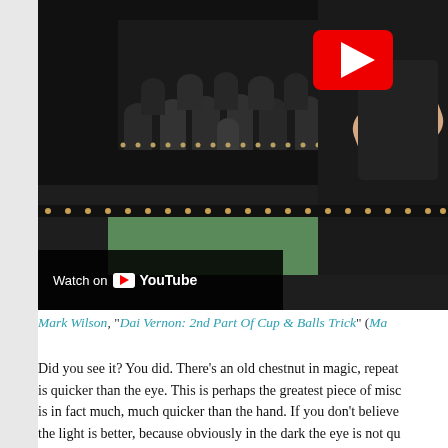[Figure (screenshot): YouTube video thumbnail showing a magic performance stage with an audience in the background and a performer on the right side with a green table. A YouTube play button is visible in the top right. A 'Watch on YouTube' overlay appears at the bottom left of the video.]
Mark Wilson, "Dai Vernon: 2nd Part Of Cup & Balls Trick" (Ma...
Did you see it? You did. There's an old chestnut in magic, repeat... is quicker than the eye. This is perhaps the greatest piece of misc... is in fact much, much quicker than the hand. If you don't believe... the light is better, because obviously in the dark the eye is not qu... makes a tube, and place it up against your eye, like a telescope m... finger past the opening as fast as you can. Unless your vision is c... your finger.